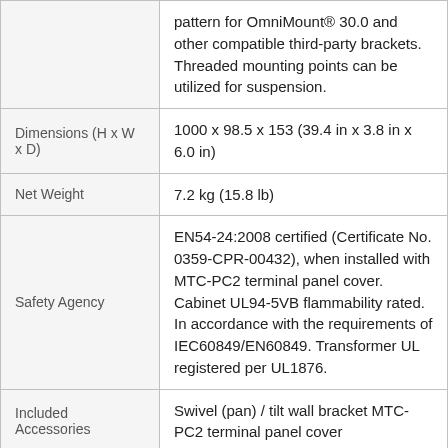| Property | Value |
| --- | --- |
|  | pattern for OmniMount® 30.0 and other compatible third-party brackets. Threaded mounting points can be utilized for suspension. |
| Dimensions (H x W x D) | 1000 x 98.5 x 153 (39.4 in x 3.8 in x 6.0 in) |
| Net Weight | 7.2 kg (15.8 lb) |
| Safety Agency | EN54-24:2008 certified (Certificate No. 0359-CPR-00432), when installed with MTC-PC2 terminal panel cover. Cabinet UL94-5VB flammability rated. In accordance with the requirements of IEC60849/EN60849. Transformer UL registered per UL1876. |
| Included Accessories | Swivel (pan) / tilt wall bracket MTC-PC2 terminal panel cover |
| Optional | MTC-CBT-FM1 flush-mount low-profile wall-mount bracket MTC-CBT-SMB1 Stand- |